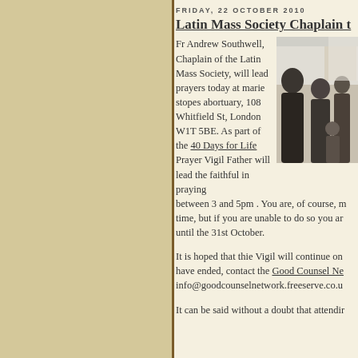FRIDAY, 22 OCTOBER 2010
Latin Mass Society Chaplain t
Fr Andrew Southwell, Chaplain of the Latin Mass Society, will lead prayers today at marie stopes abortuary, 108 Whitfield St, London W1T 5BE. As part of the 40 Days for Life Prayer Vigil Father will lead the faithful in praying between 3 and 5pm . You are, of course, m time, but if you are unable to do so you ar until the 31st October.
[Figure (photo): People gathered indoors, viewed from behind, appears to be a prayer gathering or vigil]
It is hoped that thie Vigil will continue on have ended, contact the Good Counsel Ne info@goodcounselnetwork.freeserve.co.u
It can be said without a doubt that attendir